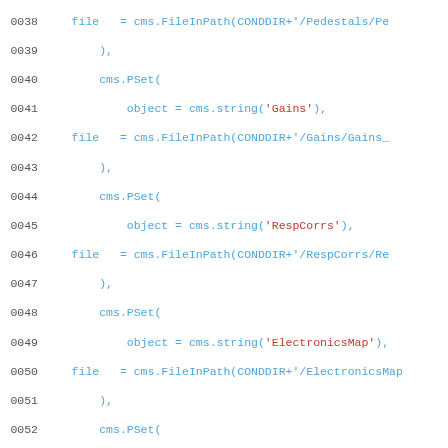Source code listing lines 0038-0067 showing CMS PSet configuration with FileInPath calls for Pedestals, Gains, RespCorrs, ElectronicsMap, TPParameters, TPChannelParameters, LUTCorrs, QIEData